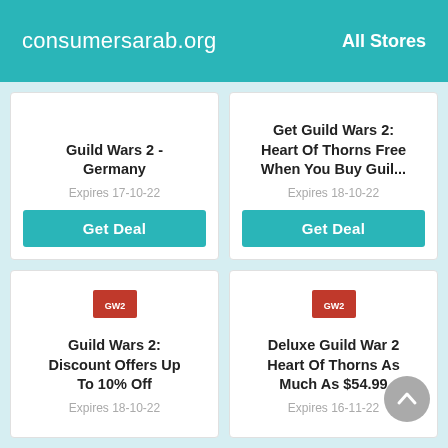consumersarab.org   All Stores
Guild Wars 2 - Germany
Expires 17-10-22
Get Deal
Get Guild Wars 2: Heart Of Thorns Free When You Buy Guil...
Expires 18-10-22
Get Deal
[Figure (logo): Red game logo for Guild Wars 2]
Guild Wars 2: Discount Offers Up To 10% Off
Expires 18-10-22
[Figure (logo): Red game logo for Guild Wars 2]
Deluxe Guild War 2 Heart Of Thorns As Much As $54.99
Expires 16-11-22